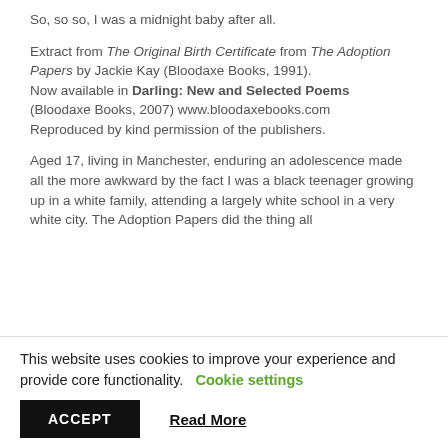So, so so, I was a midnight baby after all.
Extract from The Original Birth Certificate from The Adoption Papers by Jackie Kay (Bloodaxe Books, 1991). Now available in Darling: New and Selected Poems (Bloodaxe Books, 2007) www.bloodaxebooks.com Reproduced by kind permission of the publishers.
Aged 17, living in Manchester, enduring an adolescence made all the more awkward by the fact I was a black teenager growing up in a white family, attending a largely white school in a very white city. The Adoption Papers did the thing all
This website uses cookies to improve your experience and provide core functionality. Cookie settings
ACCEPT    Read More